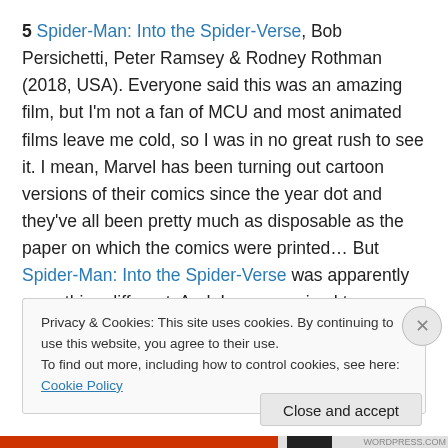5 Spider-Man: Into the Spider-Verse, Bob Persichetti, Peter Ramsey & Rodney Rothman (2018, USA). Everyone said this was an amazing film, but I'm not a fan of MCU and most animated films leave me cold, so I was in no great rush to see it. I mean, Marvel has been turning out cartoon versions of their comics since the year dot and they've all been pretty much as disposable as the paper on which the comics were printed… But Spider-Man: Into the Spider-Verse was apparently something different. And, I was surprised to discover, it was. I can't say I was taken
Privacy & Cookies: This site uses cookies. By continuing to use this website, you agree to their use.
To find out more, including how to control cookies, see here: Cookie Policy
Close and accept